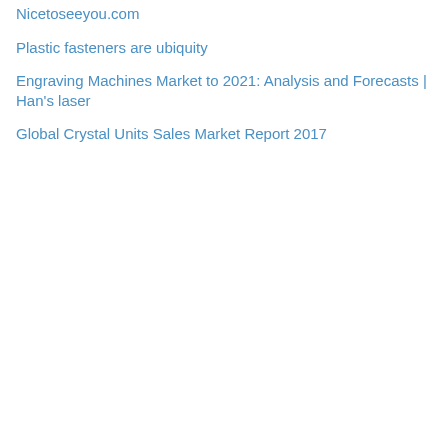Nicetoseeyou.com
Plastic fasteners are ubiquity
Engraving Machines Market to 2021: Analysis and Forecasts | Han's laser
Global Crystal Units Sales Market Report 2017